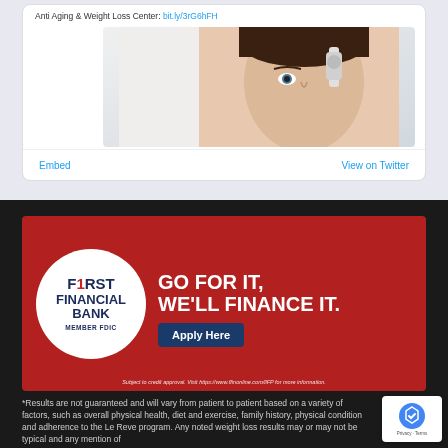Anti Aging & Weight Loss Center: bit.ly/3rG6hFH
[Figure (photo): Woman holding a skincare roller device to her forehead, embedded in a tweet card]
Embed   View on Twitter
[Figure (infographic): First Financial Bank advertisement banner on red background. White circle logo with text 'FIRST FINANCIAL BANK MEMBER FDIC'. Headline: 'GO FOR IT, WE'LL FINANCE IT.' with a dark blue 'Apply Here' button. Footnote: 'Subject to credit approval. Visit https://www.ffinonline.com/llFP for more information.']
*Results are not guaranteed and will vary from patient to patient based on a variety of factors, such as overall physical health, diet and exercise, family history, physical condition and adherence to the Le Reve program. Any noted weight loss results may or may not be typical and any mention of